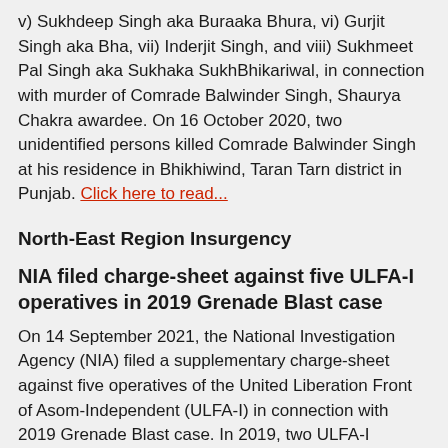v) Sukhdeep Singh aka Buraaka Bhura, vi) Gurjit Singh aka Bha, vii) Inderjit Singh, and viii) Sukhmeet Pal Singh aka Sukhaka SukhBhikariwal, in connection with murder of Comrade Balwinder Singh, Shaurya Chakra awardee. On 16 October 2020, two unidentified persons killed Comrade Balwinder Singh at his residence in Bhikhiwind, Taran Tarn district in Punjab. Click here to read...
North-East Region Insurgency
NIA filed charge-sheet against five ULFA-I operatives in 2019 Grenade Blast case
On 14 September 2021, the National Investigation Agency (NIA) filed a supplementary charge-sheet against five operatives of the United Liberation Front of Asom-Independent (ULFA-I) in connection with 2019 Grenade Blast case. In 2019, two ULFA-I operatives threw grenade at a police